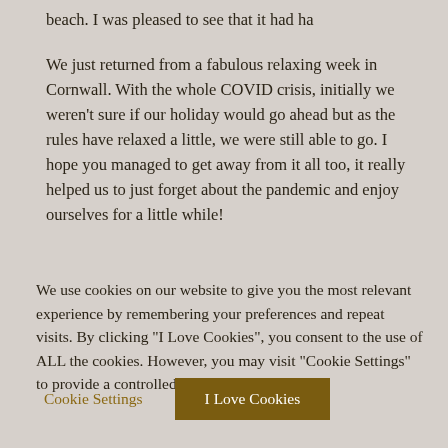beach. I was pleased to see that it had ha
We just returned from a fabulous relaxing week in Cornwall. With the whole COVID crisis, initially we weren't sure if our holiday would go ahead but as the rules have relaxed a little, we were still able to go. I hope you managed to get away from it all too, it really helped us to just forget about the pandemic and enjoy ourselves for a little while!
We use cookies on our website to give you the most relevant experience by remembering your preferences and repeat visits. By clicking “I Love Cookies”, you consent to the use of ALL the cookies. However, you may visit “Cookie Settings” to provide a controlled consent. Read More
Cookie Settings
I Love Cookies